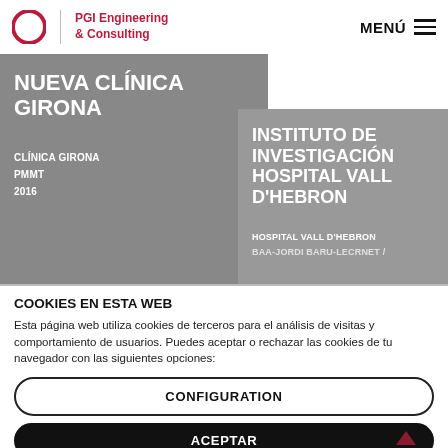PGI Engineering & Consulting | MENÚ
NUEVA CLÍNICA GIRONA
CLÍNICA GIRONA
PMMT
2016
INSTITUTO DE INVESTIGACIÓN HOSPITAL VALL D'HEBRON
HOSPITAL VALL D'HEBRON
COOKIES EN ESTA WEB
Esta página web utiliza cookies de terceros para el análisis de visitas y comportamiento de usuarios. Puedes aceptar o rechazar las cookies de tu navegador con las siguientes opciones:
CONFIGURATION
ACEPTAR